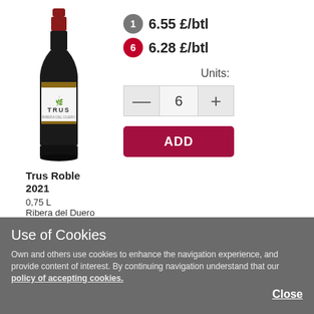[Figure (photo): Wine bottle of Trus Roble 2021, tall dark bottle with white label showing TRUS brand name and a tree logo, red foil cap]
1  6.55 £/btl
6  6.28 £/btl
Units:
— 6 +
ADD
Trus Roble 2021
0,75 L
Ribera del Duero
more info
Use of Cookies
Own and others use cookies to enhance the navigation experience, and provide content of interest. By continuing navigation understand that our policy of accepting cookies.
Close